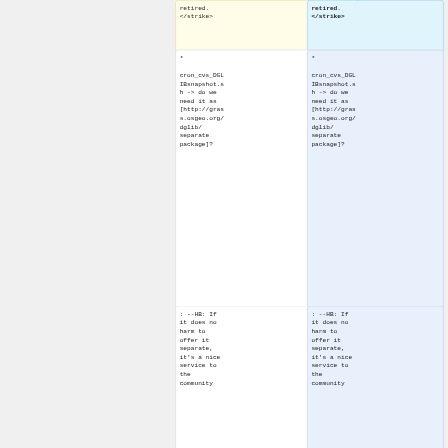retired.
</strike>
*

cron_cvs_DGLIBsnapshot.sh -> do we need it as [http://grass.osgeo.org/dglib/separate package]?
*

cron_cvs_DGLIBsnapshot.sh -> do we need it as [http://grass.osgeo.org/dglib/separate package]?
: --HB: If it does no harm to offer it separate, it's a nice service to the community
: --HB: If it does no harm to offer it separate, it's a nice service to the community